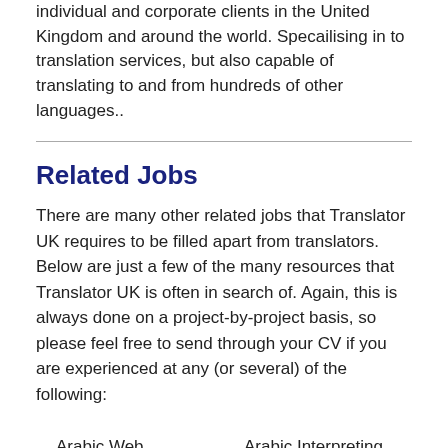individual and corporate clients in the United Kingdom and around the world. Specailising in to translation services, but also capable of translating to and from hundreds of other languages..
Related Jobs
There are many other related jobs that Translator UK requires to be filled apart from translators. Below are just a few of the many resources that Translator UK is often in search of. Again, this is always done on a project-by-project basis, so please feel free to send through your CV if you are experienced at any (or several) of the following:
Arabic Web Development
Arabic Interpreting
Graphic Design
Legal Consulting
Medical Consulting
Arabic Internet Marketing